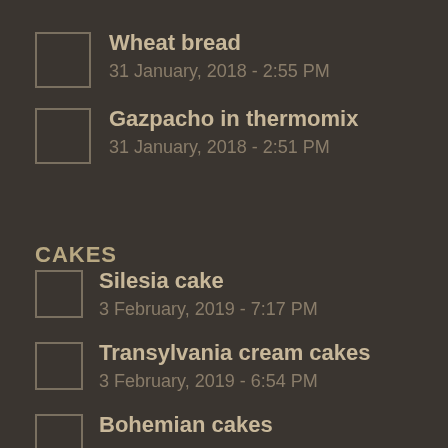Wheat bread
31 January, 2018 - 2:55 PM
Gazpacho in thermomix
31 January, 2018 - 2:51 PM
CAKES
Silesia cake
3 February, 2019 - 7:17 PM
Transylvania cream cakes
3 February, 2019 - 6:54 PM
Bohemian cakes